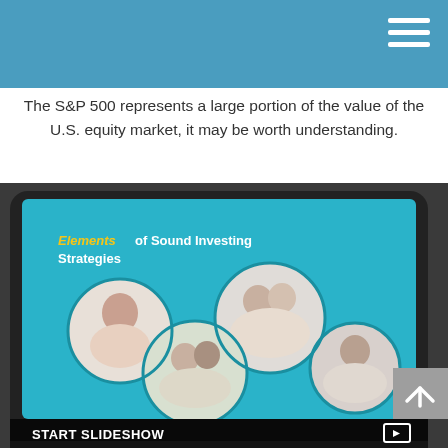The S&P 500 represents a large portion of the value of the U.S. equity market, it may be worth understanding.
[Figure (photo): A tablet device displaying a presentation slide titled 'Elements of Sound Investing Strategies' with circular photos of diverse people (individuals, couples, families) on a teal background. Below the tablet image is a 'START SLIDESHOW' button with a slideshow icon.]